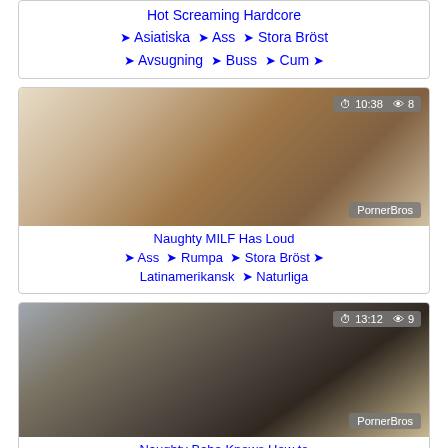Hot Screaming Hardcore ♦ Asiatiska ♦ Ass ♦ Stora Bröst ♦ Avsugning ♦ Buss ♦ Cum ♦
[Figure (photo): Thumbnail image with badge showing 10:38 and 8 views, watermark PornerBros]
Naughty MILF Has Loud ♦ Ass ♦ Rumpa ♦ Stora Bröst ♦ Latinamerikansk ♦ Naturliga
[Figure (photo): Thumbnail image with badge showing 13:12 and 9 views, watermark PornerBros]
Naughty Babe Knows How to